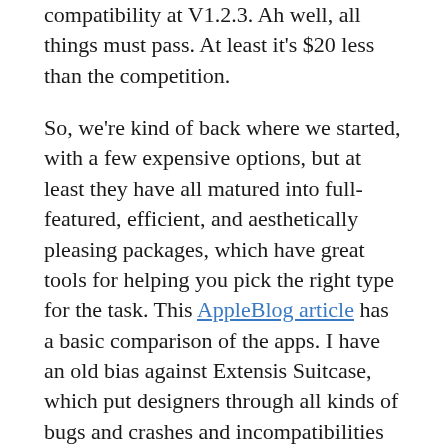compatibility at V1.2.3. Ah well, all things must pass. At least it's $20 less than the competition.
So, we're kind of back where we started, with a few expensive options, but at least they have all matured into full-featured, efficient, and aesthetically pleasing packages, which have great tools for helping you pick the right type for the task. This AppleBlog article has a basic comparison of the apps. I have an old bias against Extensis Suitcase, which put designers through all kinds of bugs and crashes and incompatibilities through the evolution of Mac OS X. FontAgent has had an edge on Suitcase, but now the two appear neck-and-neck, with FontExplorer Pro taking a bit of a lead. The